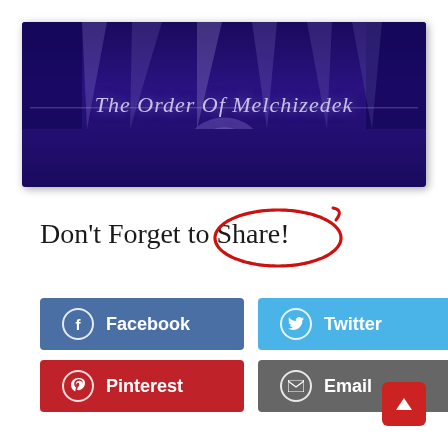[Figure (illustration): Banner image for 'The Order Of Melchizedek' with dark purple background, spotlight/curtain lights at top, a glowing orb at center bottom, and white italic serif text reading 'The Order Of Melchizedek' with a horizontal line beneath it.]
Don't Forget to Share!
[Figure (infographic): Social sharing buttons: Facebook (blue), Twitter (light blue), Pinterest (red), Email (gray), each with icon and label text.]